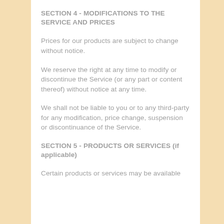SECTION 4 - MODIFICATIONS TO THE SERVICE AND PRICES
Prices for our products are subject to change without notice.
We reserve the right at any time to modify or discontinue the Service (or any part or content thereof) without notice at any time.
We shall not be liable to you or to any third-party for any modification, price change, suspension or discontinuance of the Service.
SECTION 5 - PRODUCTS OR SERVICES (if applicable)
Certain products or services may be available